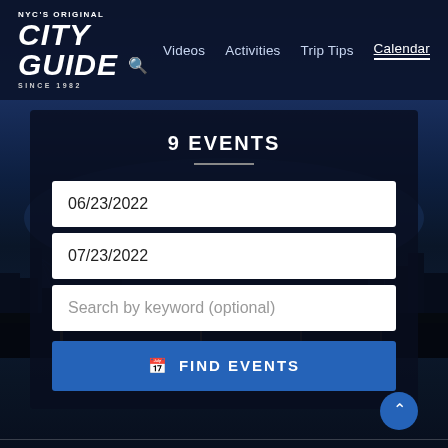[Figure (screenshot): NYC City Guide website screenshot showing navigation header with logo, nav links (Videos, Activities, Trip Tips, Calendar), and a search panel with '9 EVENTS' heading, date fields (06/23/2022, 07/23/2022), keyword search field, and FIND EVENTS button over a night cityscape background.]
NYC'S ORIGINAL CITY GUIDE SINCE 1982
Videos  Activities  Trip Tips  Calendar
9 EVENTS
06/23/2022
07/23/2022
Search by keyword (optional)
FIND EVENTS